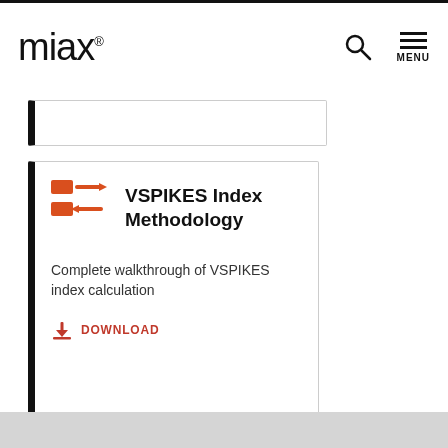[Figure (logo): MIAX logo with navigation bar including search and menu icons]
[Figure (screenshot): Partially visible card element above the main VSPIKES card]
VSPIKES Index Methodology
Complete walkthrough of VSPIKES index calculation
DOWNLOAD